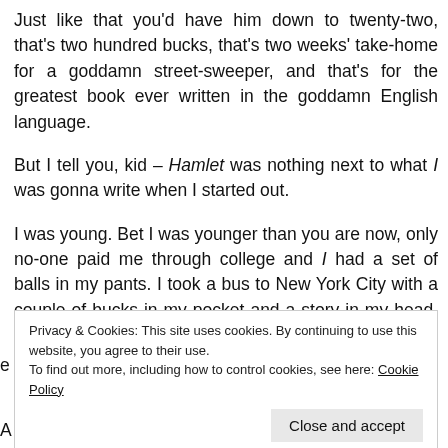Just like that you'd have him down to twenty-two, that's two hundred bucks, that's two weeks' take-home for a goddamn street-sweeper, and that's for the greatest book ever written in the goddamn English language.
But I tell you, kid – Hamlet was nothing next to what I was gonna write when I started out.
I was young. Bet I was younger than you are now, only no-one paid me through college and I had a set of balls in my pants. I took a bus to New York City with a couple of bucks in my pocket and a story in my head. September nineteen-forty-six. My god, what a gamble. My god, what a gambler I was.
Privacy & Cookies: This site uses cookies. By continuing to use this website, you agree to their use.
To find out more, including how to control cookies, see here: Cookie Policy